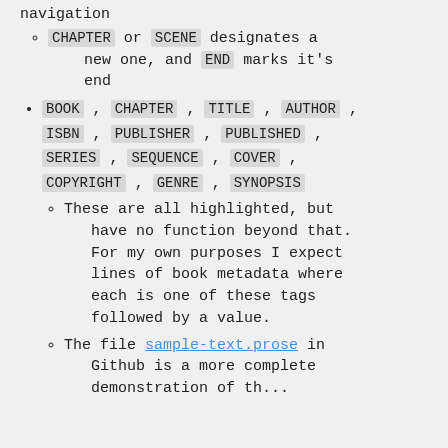navigation
CHAPTER or SCENE designates a new one, and END marks it's end
BOOK , CHAPTER , TITLE , AUTHOR , ISBN , PUBLISHER , PUBLISHED , SERIES , SEQUENCE , COVER , COPYRIGHT , GENRE , SYNOPSIS
These are all highlighted, but have no function beyond that. For my own purposes I expect lines of book metadata where each is one of these tags followed by a value.
The file sample-text.prose in Github is a more complete demonstration of the...